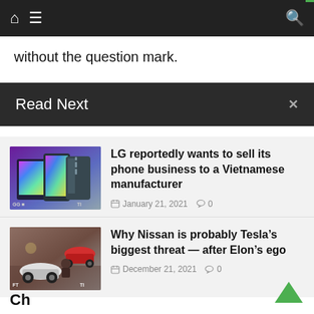Navigation bar with home, menu, and search icons
without the question mark.
Read Next
LG reportedly wants to sell its phone business to a Vietnamese manufacturer — January 21, 2021  0
Why Nissan is probably Tesla’s biggest threat — after Elon’s ego — December 21, 2021  0
Ch